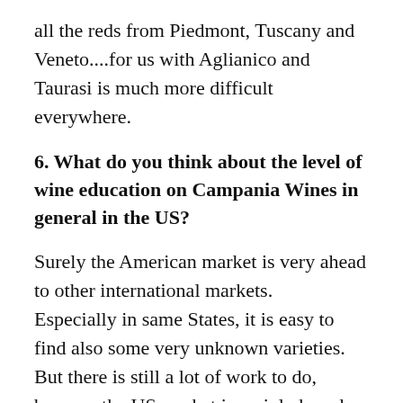all the reds from Piedmont, Tuscany and Veneto....for us with Aglianico and Taurasi is much more difficult everywhere.
6. What do you think about the level of wine education on Campania Wines in general in the US?
Surely the American market is very ahead to other international markets. Especially in same States, it is easy to find also some very unknown varieties. But there is still a lot of work to do, because the US market is mainly based on sale off the shelf, and I believe